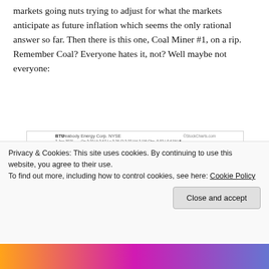markets going nuts trying to adjust for what the markets anticipate as future inflation which seems the only rational answer so far.  Then there is this one, Coal Miner #1, on a rip.  Remember Coal?  Everyone hates it, not?  Well maybe not everyone:
[Figure (continuous-plot): BTU Peabody Energy Corp. NYSE daily candlestick chart from StockCharts.com. Date: 7-Jan-2021. Op 3.32 Hi 3.67 Lo 3.26 Cl 3.27 Vol 2.1M Chg -0.02 (-0.61%). Shows BTU (Daily) 3.27, KAMA(10,2,30) 2.55, Volume 2,035,735. Price range approximately 2.25 to 4.00. Price shown as 3.27 highlighted, low around 2.55 shown.]
Privacy & Cookies: This site uses cookies. By continuing to use this website, you agree to their use.
To find out more, including how to control cookies, see here: Cookie Policy
Close and accept